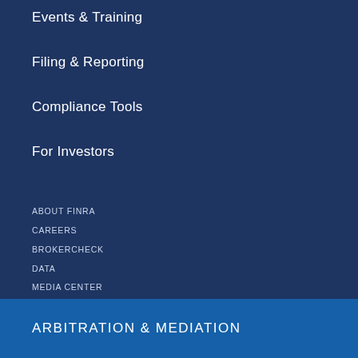Events & Training
Filing & Reporting
Compliance Tools
For Investors
ABOUT FINRA
CAREERS
BROKERCHECK
DATA
MEDIA CENTER
CONTACT US
ARBITRATION & MEDIATION